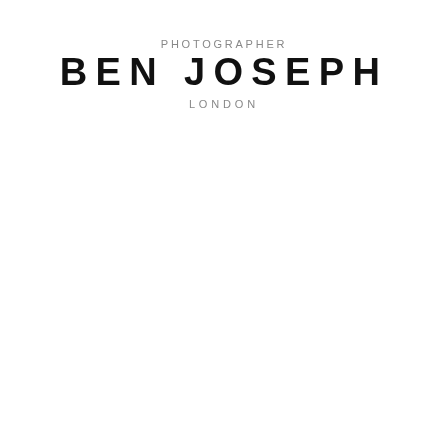PHOTOGRAPHER BEN JOSEPH LONDON